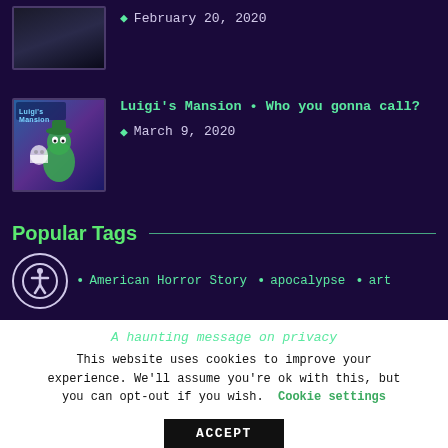February 20, 2020
[Figure (photo): Luigi's Mansion game cover art showing Luigi with ghosts on a blue-purple background]
Luigi's Mansion • Who you gonna call? — March 9, 2020
Popular Tags
American Horror Story • apocalypse • art
A haunting message on privacy
This website uses cookies to improve your experience. We'll assume you're ok with this, but you can opt-out if you wish. Cookie settings
ACCEPT